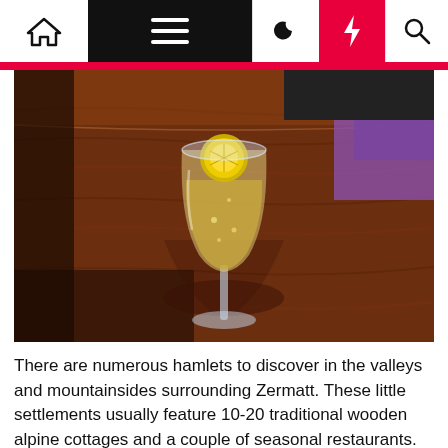[Navigation bar: home icon, menu icon, moon icon, lightning bolt icon, search icon]
[Figure (photo): A champagne flute filled with a golden drink and a lemon slice, sitting on a rustic dark wooden table in what appears to be an outdoor alpine restaurant. A person in a purple jacket is visible in the background.]
There are numerous hamlets to discover in the valleys and mountainsides surrounding Zermatt. These little settlements usually feature 10-20 traditional wooden alpine cottages and a couple of seasonal restaurants.
We discovered a short journey that takes you through the charming hamlets of Furi, Z'mutt, Zum See, and Blatten. Prepare for a mountain restaurant